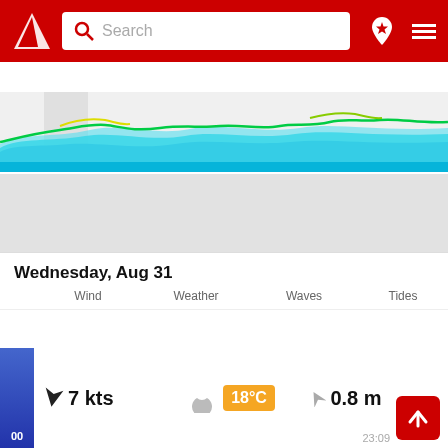[Figure (screenshot): App header with red background, white triangular logo on left, search bar in center, location pin icon and hamburger menu icon on right]
[Figure (continuous-plot): Horizontal date selector strip showing days 29, 30 (selected/highlighted), 31, 1, 2, 3, 4, 5, 6, 7 with wave forecast chart below showing colored wave height lines (blue, cyan, green, yellow) across the date range]
[Figure (map): Gray map area showing a marine/coastal map region]
Wednesday, Aug 31
Wind
Weather
Waves
Tides
00
7 kts
18°C
0.8 m
23:09